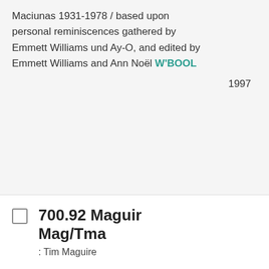Maciunas 1931-1978 / based upon personal reminiscences gathered by Emmett Williams und Ay-O, and edited by Emmett Williams and Ann Noël W'BOOL
1997
700.92 Maguir Mag/Tma
: Tim Maguire
Tim Maguire
MELB
[Figure (illustration): Book icon in teal color with text BOOK below it]
2007